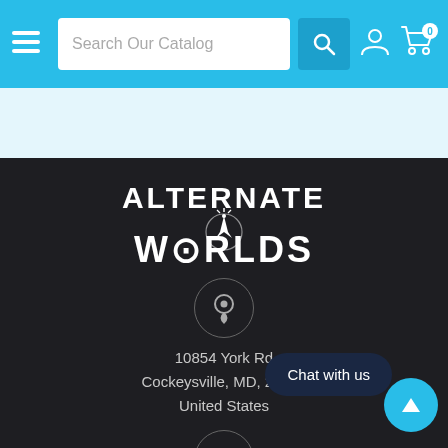Search Our Catalog
[Figure (logo): Alternate Worlds logo in white text on dark background with rocket/arrow graphic]
10854 York Rd
Cockeysville, MD, 21030
United States
410-666-3290
Chat with us